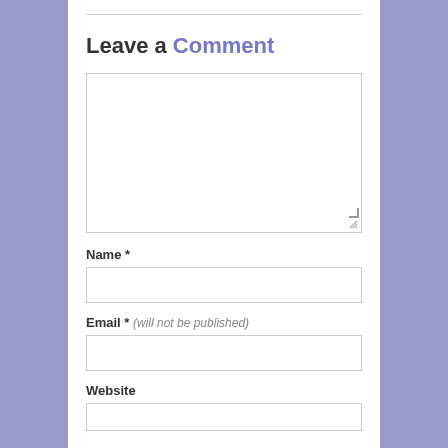Leave a Comment
[Figure (screenshot): Comment form textarea (large empty text box)]
Name *
[Figure (screenshot): Name input field (empty text box)]
Email * (will not be published)
[Figure (screenshot): Email input field (empty text box)]
Website
[Figure (screenshot): Website input field (partially visible empty text box)]